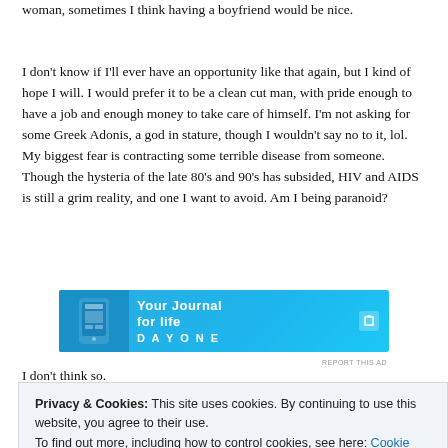woman, sometimes I think having a boyfriend would be nice.
I don't know if I'll ever have an opportunity like that again, but I kind of hope I will. I would prefer it to be a clean cut man, with pride enough to have a job and enough money to take care of himself. I'm not asking for some Greek Adonis, a god in stature, though I wouldn't say no to it, lol. My biggest fear is contracting some terrible disease from someone. Though the hysteria of the late 80's and 90's has subsided, HIV and AIDS is still a grim reality, and one I want to avoid. Am I being paranoid?
[Figure (other): Advertisement banner for Day One - Your Journal for life app, with phone image on left and text on blue background]
I don't think so.
Privacy & Cookies: This site uses cookies. By continuing to use this website, you agree to their use.
To find out more, including how to control cookies, see here: Cookie Policy
Close and accept
Advertisements